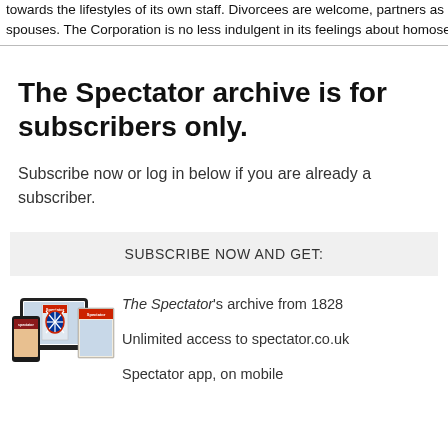towards the lifestyles of its own staff. Divorcees are welcome, partners as comm
spouses. The Corporation is no less indulgent in its feelings about homosexual h
The Spectator archive is for subscribers only.
Subscribe now or log in below if you are already a subscriber.
SUBSCRIBE NOW AND GET:
[Figure (illustration): Multiple Spectator magazine covers shown on tablet, phone, and printed form]
The Spectator's archive from 1828
Unlimited access to spectator.co.uk
Spectator app, on mobile